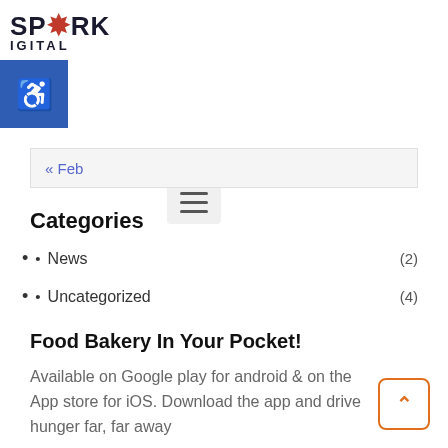[Figure (logo): Spark Digital logo with star/burst graphic and accessibility icon button]
[Figure (other): Hamburger menu icon button]
« Feb
Categories
News (2)
Uncategorized (4)
Food Bakery In Your Pocket!
Available on Google play for android & on the App store for iOS. Download the app and drive hunger far, far away